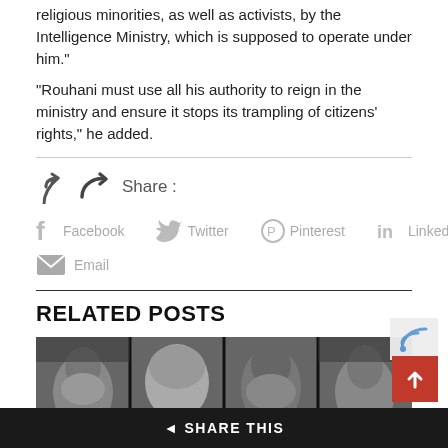religious minorities, as well as activists, by the Intelligence Ministry, which is supposed to operate under him.”
“Rouhani must use all his authority to reign in the ministry and ensure it stops its trampling of citizens’ rights,” he added.
[Figure (infographic): Share section with share arrow icon and label 'Share :' followed by social media icons: Facebook, Twitter, Pinterest, Linkedin, and Email]
RELATED POSTS
[Figure (photo): Black and white photo collage showing close-up faces of multiple people]
< SHARE THIS